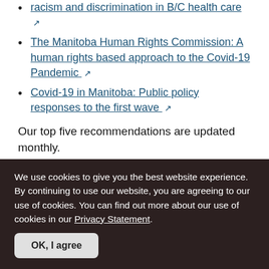racism and discrimination in B/C health care [external link] (truncated top)
The Manitoba Human Rights Commission: A human rights based approach to the Covid-19 Pandemic [external link]
Covid-19 in Manitoba: Public policy responses to the first wave [external link]
Our top five recommendations are updated monthly.
[Figure (infographic): Light grey info box with a teal circle info icon (i) at top center, and text 'For additional reading, listening and viewing' below it.]
We use cookies to give you the best website experience. By continuing to use our website, you are agreeing to our use of cookies. You can find out more about our use of cookies in our Privacy Statement.
OK, I agree